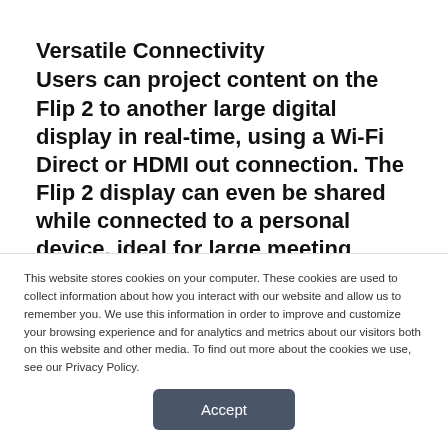Versatile Connectivity
Users can project content on the Flip 2 to another large digital display in real-time, using a Wi-Fi Direct or HDMI out connection. The Flip 2 display can even be shared while connected to a personal device, ideal for large meeting environments. USB, HDMI, NFC and
This website stores cookies on your computer. These cookies are used to collect information about how you interact with our website and allow us to remember you. We use this information in order to improve and customize your browsing experience and for analytics and metrics about our visitors both on this website and other media. To find out more about the cookies we use, see our Privacy Policy.
Accept